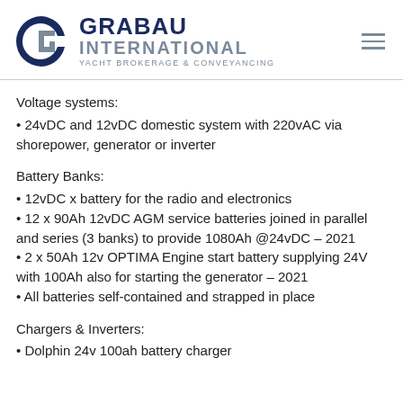[Figure (logo): Grabau International Yacht Brokerage & Conveyancing logo with stylized G/C icon in navy and grey]
Voltage systems:
• 24vDC and 12vDC domestic system with 220vAC via shorepower, generator or inverter
Battery Banks:
• 12vDC x battery for the radio and electronics
• 12 x 90Ah 12vDC AGM service batteries joined in parallel and series (3 banks) to provide 1080Ah @24vDC – 2021
• 2 x 50Ah 12v OPTIMA Engine start battery supplying 24V with 100Ah also for starting the generator – 2021
• All batteries self-contained and strapped in place
Chargers & Inverters:
• Dolphin 24v 100ah battery charger